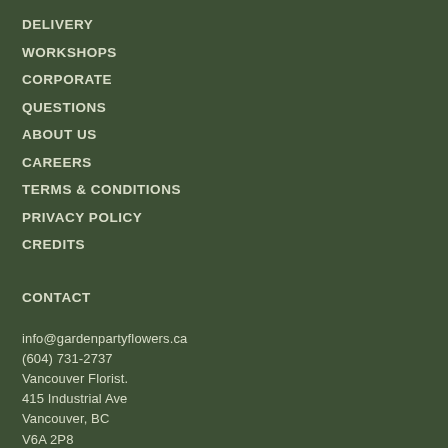DELIVERY
WORKSHOPS
CORPORATE
QUESTIONS
ABOUT US
CAREERS
TERMS & CONDITIONS
PRIVACY POLICY
CREDITS
CONTACT
info@gardenpartyflowers.ca
(604) 731-2737
Vancouver Florist.
415 Industrial Ave
Vancouver, BC
V6A 2P8
HOURS
Regular Hours